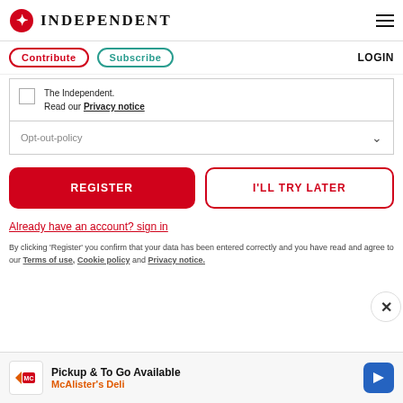INDEPENDENT
Contribute | Subscribe | LOGIN
The Independent.
Read our Privacy notice
Opt-out-policy
REGISTER
I'LL TRY LATER
Already have an account? sign in
By clicking 'Register' you confirm that your data has been entered correctly and you have read and agree to our Terms of use, Cookie policy and Privacy notice.
Pickup & To Go Available
McAlister's Deli